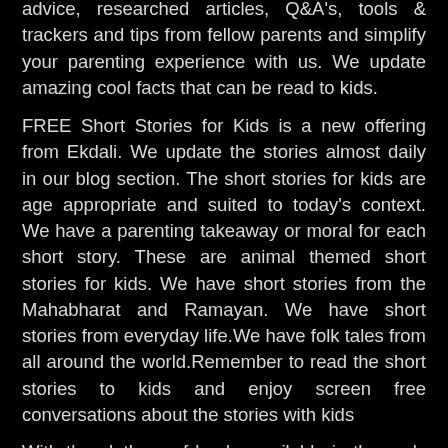advice, researched articles, Q&A's, tools & trackers and tips from fellow parents and simplify your parenting experience with us. We update amazing cool facts that can be read to kids.
FREE Short Stories for Kids is a new offering from Ekdali. We update the stories almost daily in our blog section. The short stories for kids are age appropriate and suited to today's context. We have a parenting takeaway or moral for each short story. These are animal themed short stories for kids. We have short stories from the Mahabharat and Ramayan. We have short stories from everyday life.We have folk tales from all around the world.Remember to read the short stories to kids and enjoy screen free conversations about the stories with kids
With the plethora of books available in the early learning years, it becomes difficult to choose. Ekdali Book Reviews, give you a good insight into what might work for your kids, before you decide to buy books for kids.
Ekdali Book Boxes
Keep your little one engaged for hours with this age-appropriate fun with learning activity program. Ekdali Book Boxes designed by developmental experts and educators to put together unique, here...